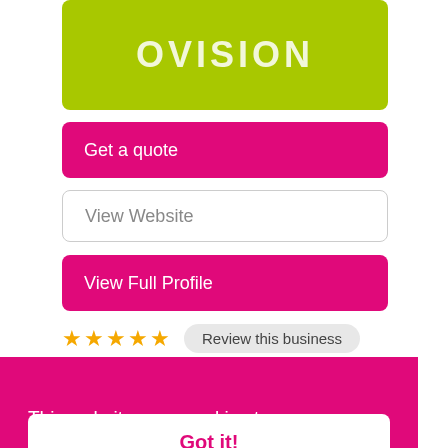[Figure (logo): Green rounded rectangle banner with partial text 'OVISION' in white letters]
Get a quote
View Website
View Full Profile
★★★★★  Review this business
This website uses cookies to ensure you get the best experience on our website.
Learn more
Got it!
the galley, including guest and crew provisions. It prides itself in